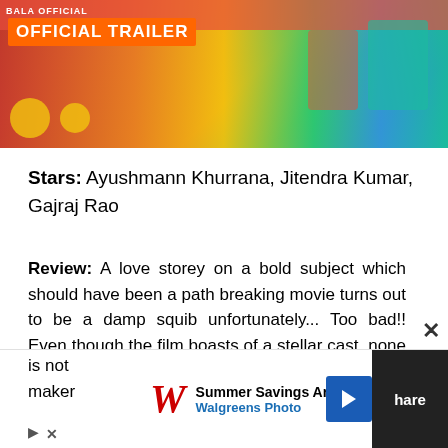[Figure (screenshot): Movie trailer thumbnail showing colorful scene with text 'OFFICIAL TRAILER']
Stars: Ayushmann Khurrana, Jitendra Kumar, Gajraj Rao
Review: A love storey on a bold subject which should have been a path breaking movie turns out to be a damp squib unfortunately... Too bad!! Even though the film boasts of a stellar cast, none of them are able to do justice to their roles due to the weak script. Very few moments where u actually feel like laughing. Ayush... to do somet... hare is not... maker...
[Figure (screenshot): Walgreens Photo advertisement banner: Summer Savings Are Heating U]